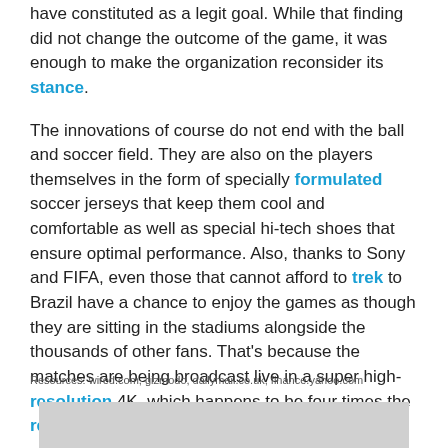have constituted as a legit goal. While that finding did not change the outcome of the game, it was enough to make the organization reconsider its stance.
The innovations of course do not end with the ball and soccer field. They are also on the players themselves in the form of specially formulated soccer jerseys that keep them cool and comfortable as well as special hi-tech shoes that ensure optimal performance. Also, thanks to Sony and FIFA, even those that cannot afford to trek to Brazil have a chance to enjoy the games as though they are sitting in the stadiums alongside the thousands of other fans. That's because the matches are being broadcast live in a super high-resolution 4K, which happens to be four times the resolution of full HD 1080p!
Resources: wired.com, gizmodo, dailymail.co.uk, finance.yahoo.com